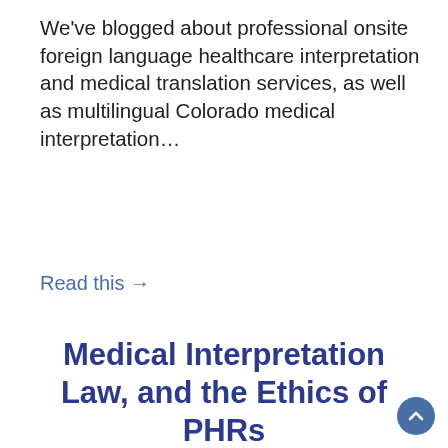We've blogged about professional onsite foreign language healthcare interpretation and medical translation services, as well as multilingual Colorado medical interpretation…
Read this →
Medical Interpretation Law, and the Ethics of PHRs
April 21, 2011 7:36am  Medical Document Translations
by Legal Translator & Court Interpreter
Medical Translations of Personal Health Records (PHRs) We've blogged about utilizing...